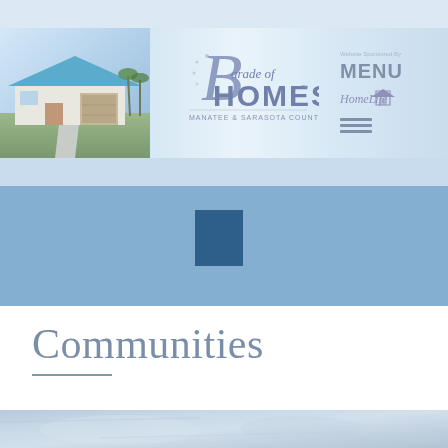[Figure (screenshot): Website header banner for Parade of Homes Manatee & Sarasota Counties. Left side shows a photo of a house with blue roof. Center shows the Parade of Homes logo with decorative script. Right side shows MENU text and HomeLife sponsor logo with navigation lines.]
[Figure (other): Medium blue decorative band with a dark blue square element centered slightly left of middle.]
Communities
[Figure (photo): Partial bottom image strip showing a blurred architectural/interior photo in blue-grey tones.]